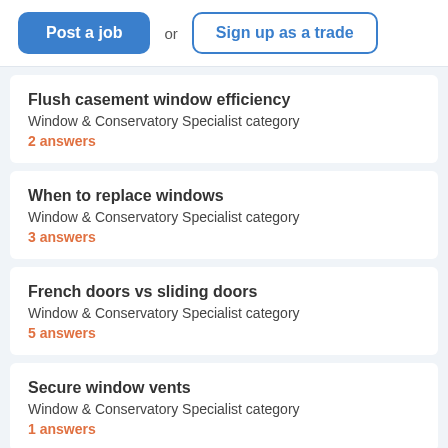Post a job or Sign up as a trade
Flush casement window efficiency
Window & Conservatory Specialist category
2 answers
When to replace windows
Window & Conservatory Specialist category
3 answers
French doors vs sliding doors
Window & Conservatory Specialist category
5 answers
Secure window vents
Window & Conservatory Specialist category
1 answers